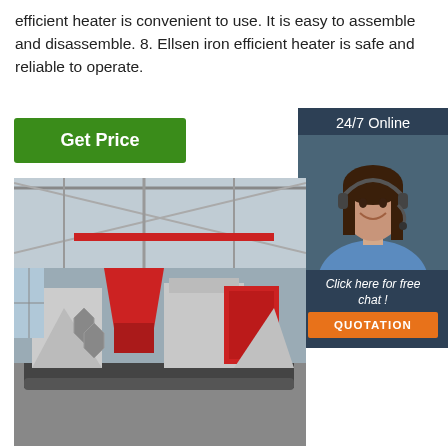efficient heater is convenient to use. It is easy to assemble and disassemble. 8. Ellsen iron efficient heater is safe and reliable to operate.
Get Price
24/7 Online
[Figure (photo): Customer service representative with headset, smiling, against dark background]
Click here for free chat !
QUOTATION
[Figure (photo): Industrial machine (large red and grey metal processing/cutting machine) inside a factory warehouse with steel roof structure]